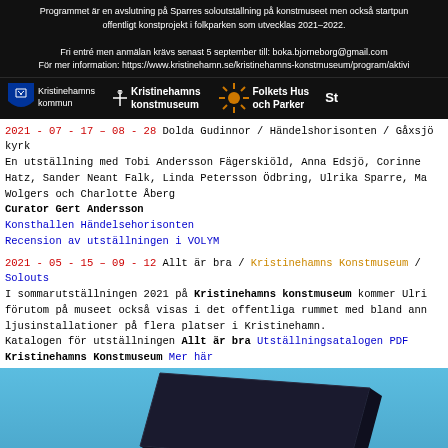Programmet är en avslutning på Sparres soloutställning på konstmuseet men också startpun offentligt konstprojekt i folkparken som utvecklas 2021–2022.

Fri entré men anmälan krävs senast 5 september till: boka.bjorneborg@gmail.com
För mer information: https://www.kristinehamn.se/kristinehamns-konstmuseum/program/aktivi
[Figure (logo): Kristinehamns kommun logo, Kristinehamns konstmuseum logo, Folkets Hus och Parker logo]
2021-07-17 – 08-28 Dolda Gudinnor / Händelshorisonten / Gåxsjö kyrk
En utställning med Tobi Andersson Fägerskiöld, Anna Edsjö, Corinne Hatz, Sander Neant Falk, Linda Petersson Ödbring, Ulrika Sparre, Ma Wolgers och Charlotte Åberg
Curator Gert Andersson
Konsthallen Händelsehorisonten
Recension av utställningen i VOLYM
2021-05-15 – 09-12 Allt är bra / Kristinehamns Konstmuseum / Solouts
I sommarutställningen 2021 på Kristinehamns konstmuseum kommer Ulri förutom på museet också visas i det offentliga rummet med bland ann ljusinstallationer på flera platser i Kristinehamn.
Katalogen för utställningen Allt är bra Utställningsatalogen PDF
Kristinehamns Konstmuseum Mer här
[Figure (photo): Outdoor sculpture or large flat panel/screen on a pole against a clear blue sky, photographed from below at an angle]